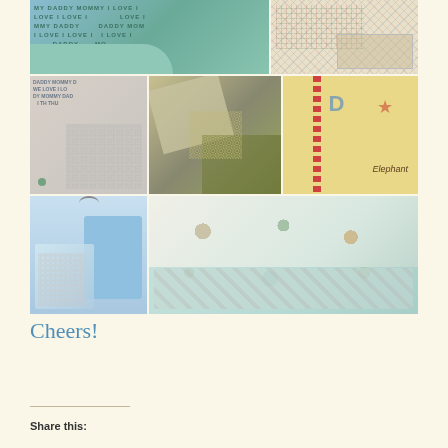[Figure (photo): A collage of 7 photos showing various baby blankets with different fabric patterns including minky dot fabric, animal prints, letter prints, and colorful patterns. Photos arranged in 3 rows: top row has 2 wide photos, middle row has 3 equal photos, bottom row has 2 photos.]
Cheers!
Share this: